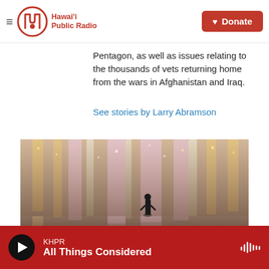Hawai'i Public Radio | Donate
Pentagon, as well as issues relating to the thousands of vets returning home from the wars in Afghanistan and Iraq.
See stories by Larry Abramson
[Figure (photo): A person standing inside a large art installation with hanging strands of lights/crystals in pink, gold, and silver cascading from the ceiling, reflected on the floor.]
KHPR All Things Considered